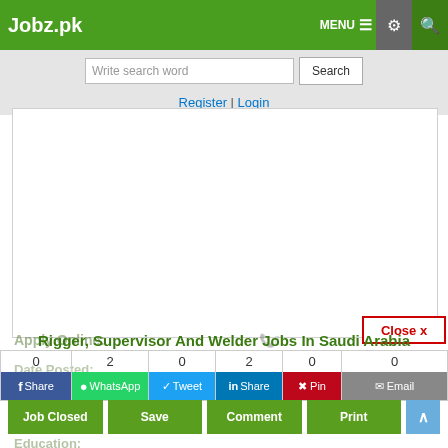Jobz.pk | MENU | [gear icon] | [search icon]
Write search word | Search
Register | Login
[Figure (screenshot): White advertisement/banner area]
Close x
Rigger, Supervisor And Welder Jobs In Saudi Arabia
Apply Online: | Date Posted: | Newspaper: | Education: | Vacancy Location: | Organization:
[Figure (infographic): Social share buttons: Facebook Share (0), WhatsApp (2), Tweet (0), LinkedIn Share (2), Pinterest Pin (0), Email (0)]
Job Closed | Save | Comment | Print | ^ scroll-to-top button